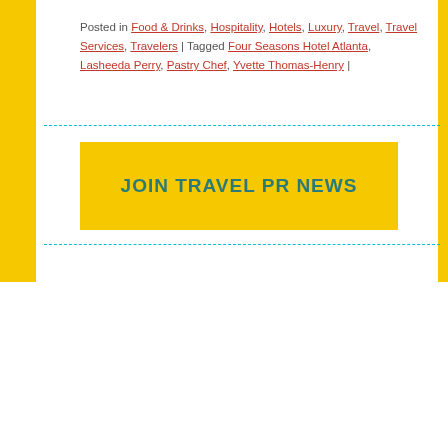Posted in Food & Drinks, Hospitality, Hotels, Luxury, Travel, Travel Services, Travelers | Tagged Four Seasons Hotel Atlanta, Lasheeda Perry, Pastry Chef, Yvette Thomas-Henry |
[Figure (other): Yellow button/banner with text JOIN TRAVEL PR NEWS in dark teal bold capitals]
TravelPRNews.com uses cookies on its website to give you the most relevant experience by remembering your preferences and repeat visits. By clicking "Accept", you consent to the use of ALL the cookies.
Cookie settings | ACCEPT